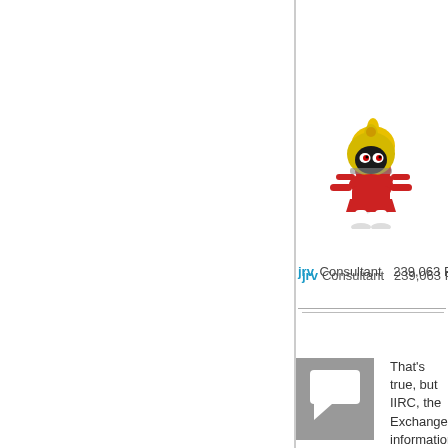[Figure (illustration): Cartoon avatar of user jrv — a Marvin the Martian style character with yellow helmet, red body, white legs]
jrv Consultant   239,063 Points
[Figure (other): Grey comment/flag icon box]
0
Sign in to vote
That's true, but IIRC, the Exchange information store uses the msExchUserAccountControl to determine whether to read permissions using the objectSID (or an enabled user) or the msExchangeMasterAccountSID